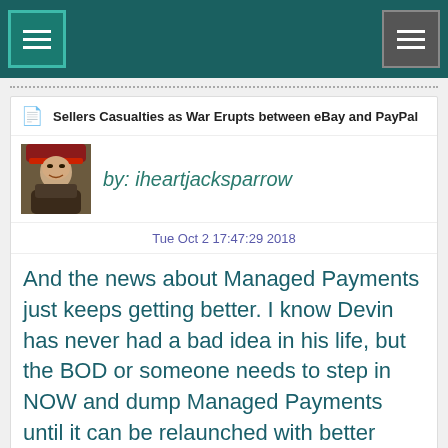Navigation header with menu icons
Sellers Casualties as War Erupts between eBay and PayPal
by: iheartjacksparrow
Tue Oct 2 17:47:29 2018
And the news about Managed Payments just keeps getting better. I know Devin has never had a bad idea in his life, but the BOD or someone needs to step in NOW and dump Managed Payments until it can be relaunched with better conditions for the sellers.
Sellers Casualties as War Erupts between eBay and PayPal